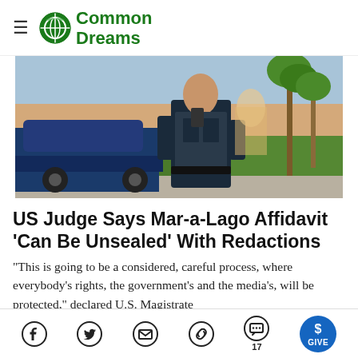Common Dreams
[Figure (photo): A police or security officer in tactical gear walking near a blue car outside a building with palm trees and green hedges, likely Mar-a-Lago area.]
US Judge Says Mar-a-Lago Affidavit 'Can Be Unsealed' With Redactions
"This is going to be a considered, careful process, where everybody's rights, the government's and the media's, will be protected," declared U.S. Magistrate